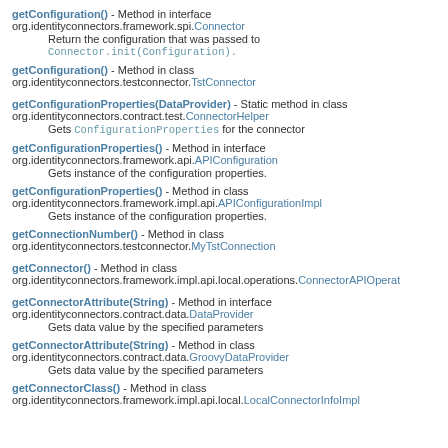getConfiguration() - Method in interface org.identityconnectors.framework.spi.Connector
  Return the configuration that was passed to Connector.init(Configuration).
getConfiguration() - Method in class org.identityconnectors.testconnector.TstConnector
getConfigurationProperties(DataProvider) - Static method in class org.identityconnectors.contract.test.ConnectorHelper
  Gets ConfigurationProperties for the connector
getConfigurationProperties() - Method in interface org.identityconnectors.framework.api.APIConfiguration
  Gets instance of the configuration properties.
getConfigurationProperties() - Method in class org.identityconnectors.framework.impl.api.APIConfigurationImpl
  Gets instance of the configuration properties.
getConnectionNumber() - Method in class org.identityconnectors.testconnector.MyTstConnection
getConnector() - Method in class org.identityconnectors.framework.impl.api.local.operations.ConnectorAPIOperat
getConnectorAttribute(String) - Method in interface org.identityconnectors.contract.data.DataProvider
  Gets data value by the specified parameters
getConnectorAttribute(String) - Method in class org.identityconnectors.contract.data.GroovyDataProvider
  Gets data value by the specified parameters
getConnectorClass() - Method in class org.identityconnectors.framework.impl.api.local.LocalConnectorInfoImpl